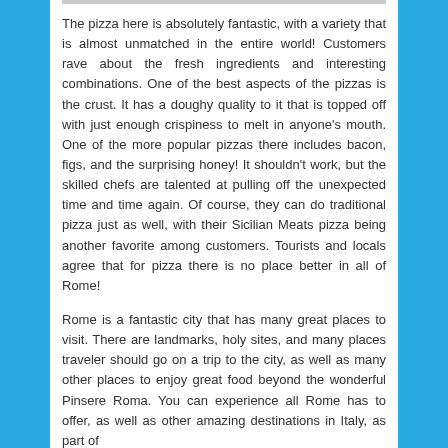The pizza here is absolutely fantastic, with a variety that is almost unmatched in the entire world! Customers rave about the fresh ingredients and interesting combinations. One of the best aspects of the pizzas is the crust. It has a doughy quality to it that is topped off with just enough crispiness to melt in anyone's mouth. One of the more popular pizzas there includes bacon, figs, and the surprising honey! It shouldn't work, but the skilled chefs are talented at pulling off the unexpected time and time again. Of course, they can do traditional pizza just as well, with their Sicilian Meats pizza being another favorite among customers. Tourists and locals agree that for pizza there is no place better in all of Rome!
Rome is a fantastic city that has many great places to visit. There are landmarks, holy sites, and many places traveler should go on a trip to the city, as well as many other places to enjoy great food beyond the wonderful Pinsere Roma. You can experience all Rome has to offer, as well as other amazing destinations in Italy, as part of